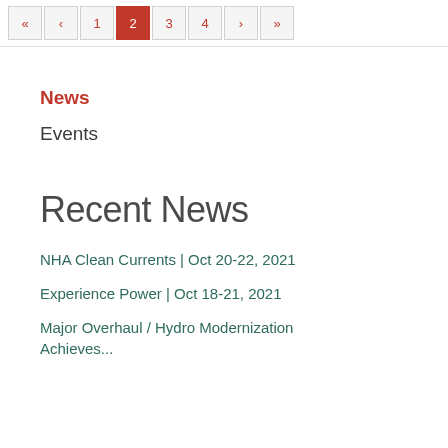« ‹ 1 2 3 4 › »
News
Events
Recent News
NHA Clean Currents | Oct 20-22, 2021
Experience Power | Oct 18-21, 2021
Major Overhaul / Hydro Modernization Achieves...